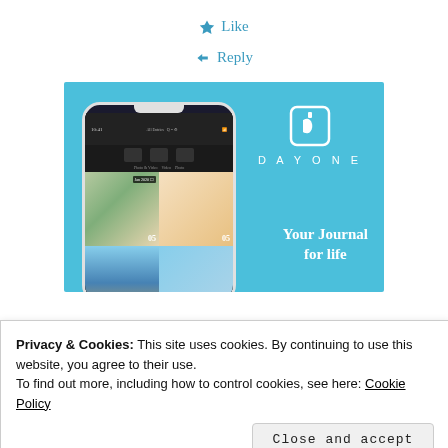★ Like
↩ Reply
[Figure (screenshot): DayOne app advertisement banner on a blue background showing a phone mockup with journal entries and the DayOne logo with tagline 'Your Journal for life']
Privacy & Cookies: This site uses cookies. By continuing to use this website, you agree to their use.
To find out more, including how to control cookies, see here: Cookie Policy
Close and accept
THELEGGLANCE